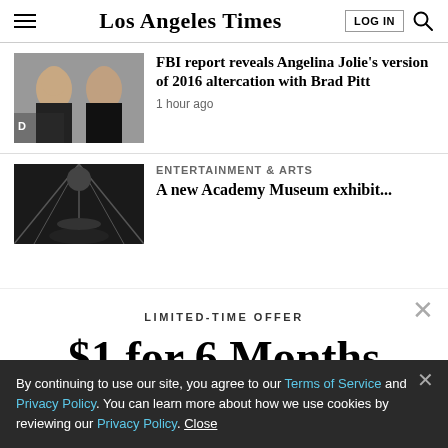Los Angeles Times
FBI report reveals Angelina Jolie’s version of 2016 altercation with Brad Pitt
1 hour ago
ENTERTAINMENT & ARTS
LIMITED-TIME OFFER
$1 for 6 Months
SUBSCRIBE NOW
By continuing to use our site, you agree to our Terms of Service and Privacy Policy. You can learn more about how we use cookies by reviewing our Privacy Policy. Close